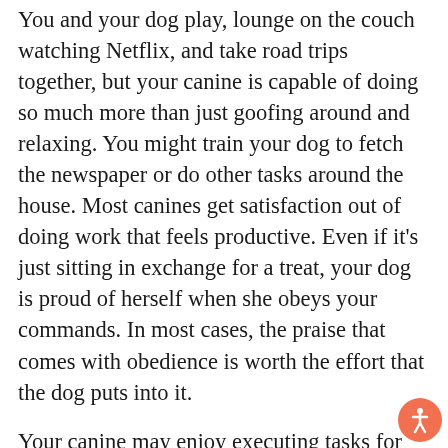You and your dog play, lounge on the couch watching Netflix, and take road trips together, but your canine is capable of doing so much more than just goofing around and relaxing. You might train your dog to fetch the newspaper or do other tasks around the house. Most canines get satisfaction out of doing work that feels productive. Even if it's just sitting in exchange for a treat, your dog is proud of herself when she obeys your commands. In most cases, the praise that comes with obedience is worth the effort that the dog puts into it.
Your canine may enjoy executing tasks for you, but is she a member of a working breed? The American Kennel Club has designated certain breeds to be working dogs. These include the Akita, Bernese mountain dog, boxer, Doberman pinscher, Portuguese water dog, and St. Bernard. You'll notice that the German shepherd isn't on the list even though it's a popular breed for police dogs. Many other dog breeds make ideal working dogs even if they're not classified